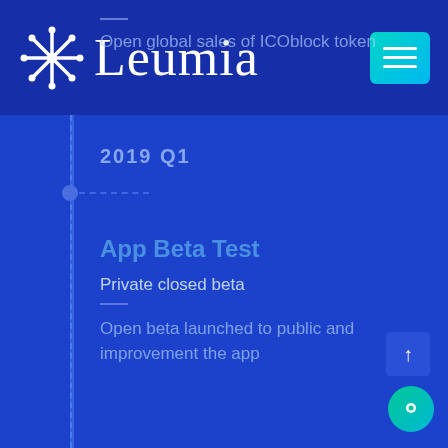Leumia
Open global sales of ICOblock token
2019 Q1
App Beta Test
Private closed beta
Open beta launched to public and improvement the app